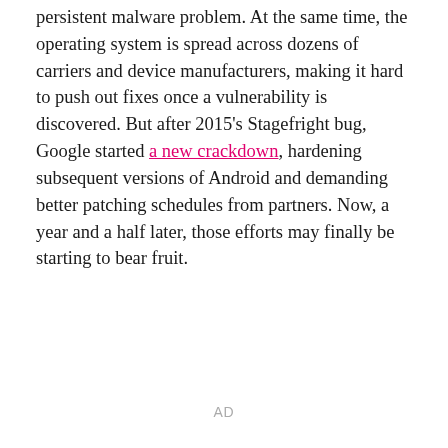persistent malware problem. At the same time, the operating system is spread across dozens of carriers and device manufacturers, making it hard to push out fixes once a vulnerability is discovered. But after 2015's Stagefright bug, Google started a new crackdown, hardening subsequent versions of Android and demanding better patching schedules from partners. Now, a year and a half later, those efforts may finally be starting to bear fruit.
AD